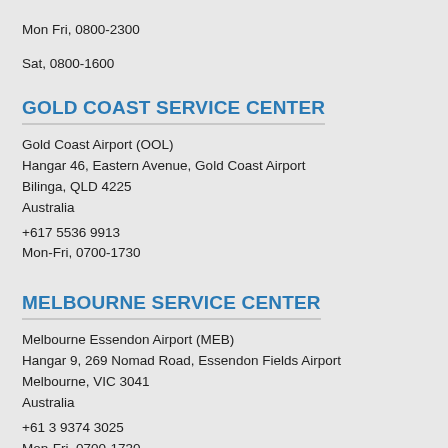Mon Fri, 0800-2300
Sat, 0800-1600
GOLD COAST SERVICE CENTER
Gold Coast Airport (OOL)
Hangar 46, Eastern Avenue, Gold Coast Airport
Bilinga, QLD 4225
Australia
+617 5536 9913
Mon-Fri, 0700-1730
MELBOURNE SERVICE CENTER
Melbourne Essendon Airport (MEB)
Hangar 9, 269 Nomad Road, Essendon Fields Airport
Melbourne, VIC 3041
Australia
+61 3 9374 3025
Mon-Fri, 0700-1730